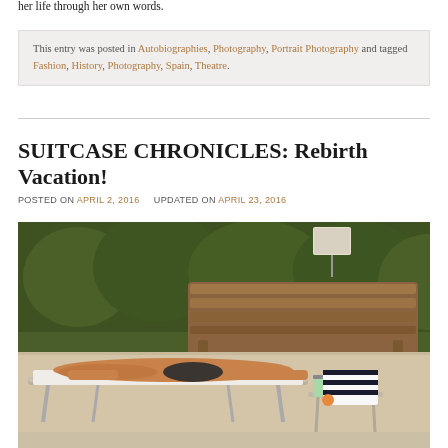her life through her own words.
This entry was posted in Autobiographies, Photography, Portrait Photography and tagged Fashion, History, Photography, Spain, Theatre.
SUITCASE CHRONICLES: Rebirth Vacation!
POSTED ON APRIL 2, 2016   UPDATED ON APRIL 23, 2016
[Figure (photo): Woman in bikini sunbathing on a lounge chair by a pool, with a wooden bench and green hedge in the background, and a striped bag and water bottle on a side table.]